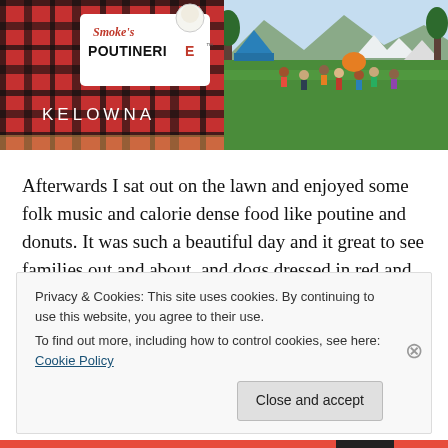[Figure (photo): Left photo: Smoke's Poutinerie sign with red and black plaid background, text says 'Smoke's POUTINERIE KELOWNA']
[Figure (photo): Right photo: outdoor festival scene with crowd on green grass, blue tent visible, people milling about on a sunny day]
Afterwards I sat out on the lawn and enjoyed some folk music and calorie dense food like poutine and donuts. It was such a beautiful day and it great to see families out and about, and dogs dressed in red and white scarves. My
Privacy & Cookies: This site uses cookies. By continuing to use this website, you agree to their use.
To find out more, including how to control cookies, see here: Cookie Policy